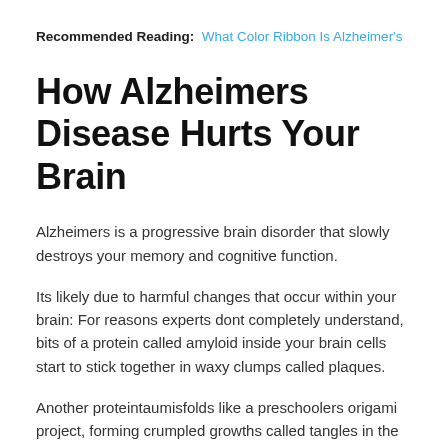Recommended Reading: What Color Ribbon Is Alzheimer's
How Alzheimers Disease Hurts Your Brain
Alzheimers is a progressive brain disorder that slowly destroys your memory and cognitive function.
Its likely due to harmful changes that occur within your brain: For reasons experts dont completely understand, bits of a protein called amyloid inside your brain cells start to stick together in waxy clumps called plaques.
Another proteintaumisfolds like a preschoolers origami project, forming crumpled growths called tangles in the